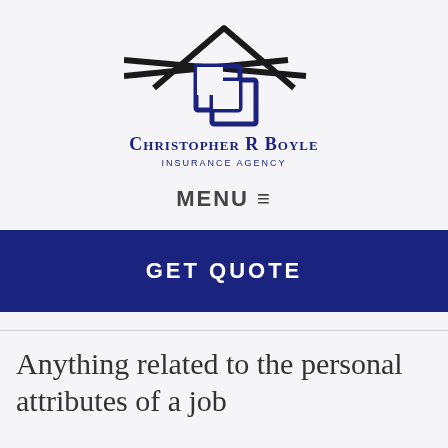[Figure (logo): Christopher R Boyle Insurance Agency logo with house roofline above interlocked CB letters in dark navy blue]
MENU ≡
GET QUOTE
Anything related to the personal attributes of a job